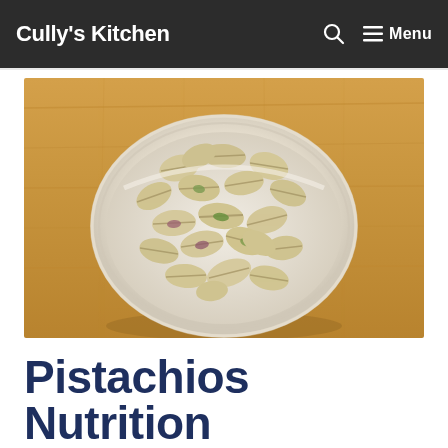Cully's Kitchen  🔍  ☰ Menu
[Figure (photo): Overhead view of a white bowl filled with pistachios in their shells on a wooden surface]
Pistachios Nutrition